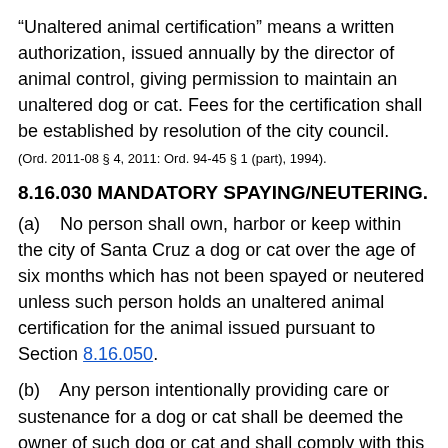“Unaltered animal certification” means a written authorization, issued annually by the director of animal control, giving permission to maintain an unaltered dog or cat. Fees for the certification shall be established by resolution of the city council.
(Ord. 2011-08 § 4, 2011: Ord. 94-45 § 1 (part), 1994).
8.16.030 MANDATORY SPAYING/NEUTERING.
(a)    No person shall own, harbor or keep within the city of Santa Cruz a dog or cat over the age of six months which has not been spayed or neutered unless such person holds an unaltered animal certification for the animal issued pursuant to Section 8.16.050.
(b)    Any person intentionally providing care or sustenance for a dog or cat shall be deemed the owner of such dog or cat and shall comply with this section.